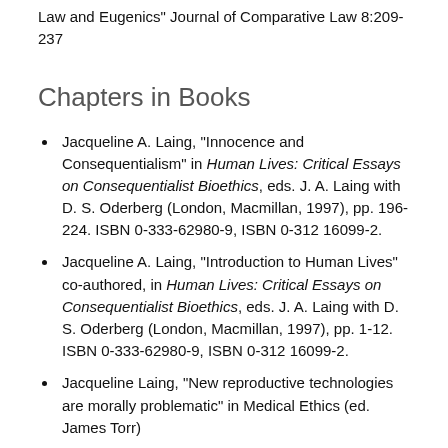Laing, Jacqueline A. (2014). "Natural Law, Comparative Law and Eugenics" Journal of Comparative Law 8:209-237
Chapters in Books
Jacqueline A. Laing, "Innocence and Consequentialism" in Human Lives: Critical Essays on Consequentialist Bioethics, eds. J. A. Laing with D. S. Oderberg (London, Macmillan, 1997), pp. 196-224. ISBN 0-333-62980-9, ISBN 0-312 16099-2.
Jacqueline A. Laing, "Introduction to Human Lives" co-authored, in Human Lives: Critical Essays on Consequentialist Bioethics, eds. J. A. Laing with D. S. Oderberg (London, Macmillan, 1997), pp. 1-12. ISBN 0-333-62980-9, ISBN 0-312 16099-2.
Jacqueline Laing, "New reproductive technologies are morally problematic" in Medical Ethics (ed. James Torr)